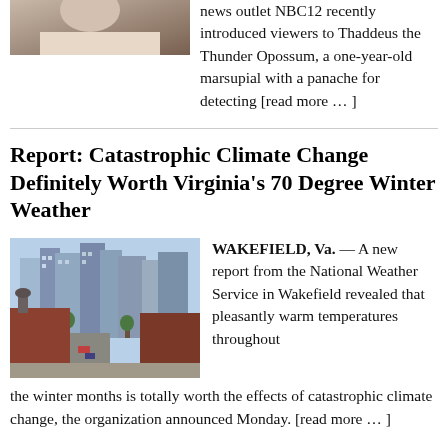[Figure (photo): Partial photo of a person, cropped at top of page]
news outlet NBC12 recently introduced viewers to Thaddeus the Thunder Opossum, a one-year-old marsupial with a panache for detecting [read more … ]
Report: Catastrophic Climate Change Definitely Worth Virginia's 70 Degree Winter Weather
[Figure (photo): Aerial view of a city street with buildings, trees, and cars — presumably Wakefield, Va.]
WAKEFIELD, Va. — A new report from the National Weather Service in Wakefield revealed that pleasantly warm temperatures throughout the winter months is totally worth the effects of catastrophic climate change, the organization announced Monday. [read more … ]